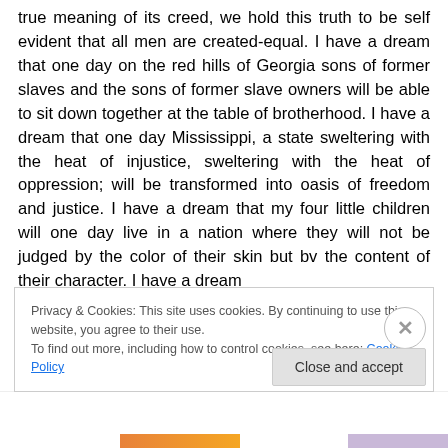true meaning of its creed, we hold this truth to be self evident that all men are created-equal. I have a dream that one day on the red hills of Georgia sons of former slaves and the sons of former slave owners will be able to sit down together at the table of brotherhood. I have a dream that one day Mississippi, a state sweltering with the heat of injustice, sweltering with the heat of oppression; will be transformed into oasis of freedom and justice. I have a dream that my four little children will one day live in a nation where they will not be judged by the color of their skin but bv the content of their character. I have a dream
Privacy & Cookies: This site uses cookies. By continuing to use this website, you agree to their use.
To find out more, including how to control cookies, see here: Cookie Policy